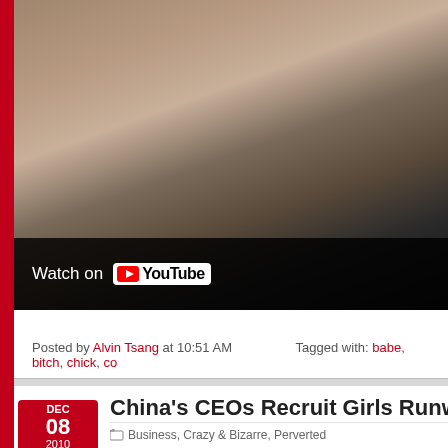[Figure (screenshot): YouTube embedded video showing hands on a desk with papers; dark bar at bottom showing 'Watch on YouTube' logo]
Posted by Alvin Tsang at 10:51 AM	Tagged with: babe, bitch, chick, co...
China's CEOs Recruit Girls Runwa...
Business, Crazy & Bizarre, Perverted
[Figure (photo): Photo of a woman looking upward, partial view]